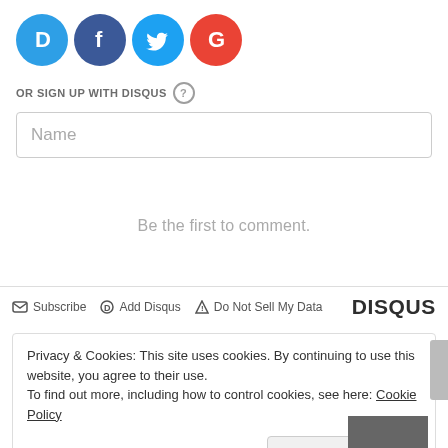[Figure (other): Social login icons: Disqus (blue D), Facebook (dark blue f), Twitter (light blue bird), Google (red G)]
OR SIGN UP WITH DISQUS ?
Name
Be the first to comment.
Subscribe  Add Disqus  Do Not Sell My Data  DISQUS
Privacy & Cookies: This site uses cookies. By continuing to use this website, you agree to their use.
To find out more, including how to control cookies, see here: Cookie Policy
Close and accept